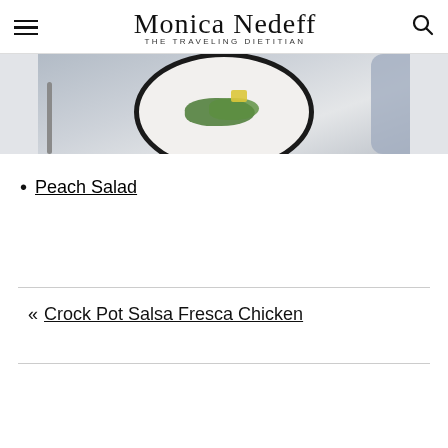Monica Nedeff — The Traveling Dietitian
[Figure (photo): Top-down photo of a plate with salad greens and a pat of butter, with a fork visible on the left and a light blue cloth napkin on the right side.]
Peach Salad
« Crock Pot Salsa Fresca Chicken